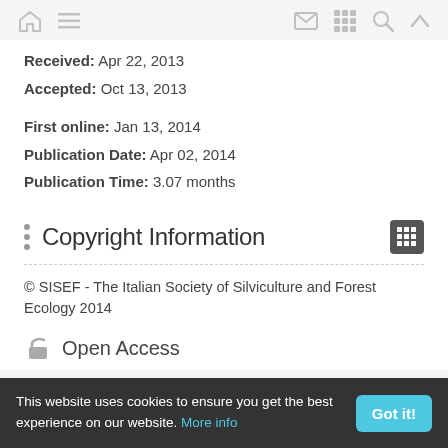Navigation bar with home, menu, mail, grid, search, and up icons
Received: Apr 22, 2013
Accepted: Oct 13, 2013
First online: Jan 13, 2014
Publication Date: Apr 02, 2014
Publication Time: 3.07 months
Copyright Information
© SISEF - The Italian Society of Silviculture and Forest Ecology 2014
Open Access
This website uses cookies to ensure you get the best experience on our website. More info